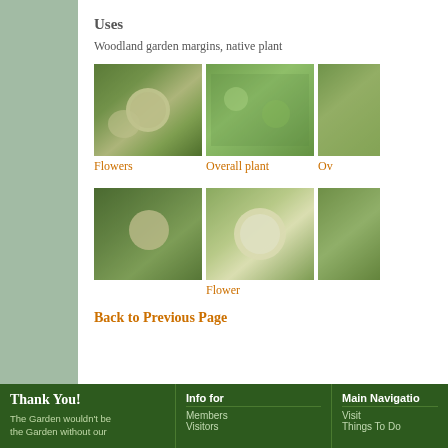Uses
Woodland garden margins, native plant
[Figure (photo): Close-up photo of white globular flowers on plant with green leaves]
Flowers
[Figure (photo): Overall plant view showing dense green foliage]
Overall plant
[Figure (photo): Partial view of plant, cropped]
Ov
[Figure (photo): Close-up of plant with white globular flower buds among green leaves]
[Figure (photo): Close-up of a single white fluffy spherical flower]
Flower
[Figure (photo): Partial cropped photo]
Back to Previous Page
Thank You! The Garden wouldn't be the Garden without our | Info for Members Visitors | Main Navigation Visit Things To Do